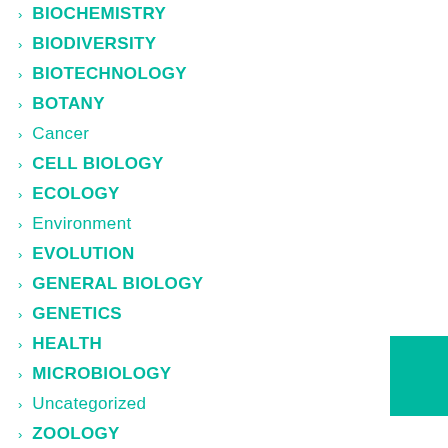BIOCHEMISTRY
BIODIVERSITY
BIOTECHNOLOGY
BOTANY
Cancer
CELL BIOLOGY
ECOLOGY
Environment
EVOLUTION
GENERAL BIOLOGY
GENETICS
HEALTH
MICROBIOLOGY
Uncategorized
ZOOLOGY